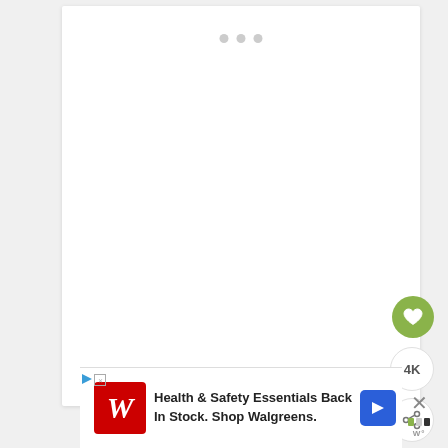[Figure (screenshot): A mostly blank white card/content area with three gray loading dots at the top, indicating a loading state in a web or app interface.]
[Figure (screenshot): A green circular heart/favorite button on the right side.]
4K
[Figure (screenshot): A white circular share button with a share icon on the right side.]
[Figure (screenshot): An advertisement banner at the bottom showing Walgreens logo with text: Health & Safety Essentials Back In Stock. Shop Walgreens. with a blue navigation arrow icon. An X close button with a small logo is shown to the right.]
Health & Safety Essentials Back In Stock. Shop Walgreens.